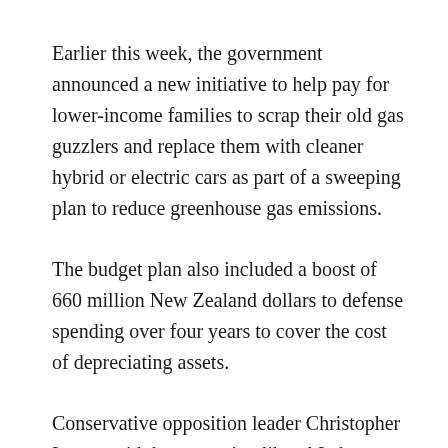Earlier this week, the government announced a new initiative to help pay for lower-income families to scrap their old gas guzzlers and replace them with cleaner hybrid or electric cars as part of a sweeping plan to reduce greenhouse gas emissions.
The budget plan also included a boost of 660 million New Zealand dollars to defense spending over four years to cover the cost of depreciating assets.
Conservative opposition leader Christopher Luxon said the governing liberal Labour Party had an addiction to spending and the budget plans would put the economy into reverse, with New Zealanders experiencing the